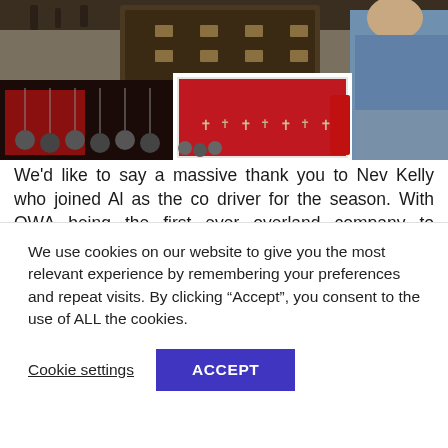[Figure (photo): A man in a blue t-shirt and jeans stands near display cases showing religious or decorative metalwork items including crosses and bells, with luggage and trinkets visible in a market or shop setting.]
We'd like to say a massive thank you to Nev Kelly who joined Al as the co driver for the season. With OWA being the first ever overland company to operate a trip through Liberia this season, it was important to have good crew onboard. They're an essential part of any
We use cookies on our website to give you the most relevant experience by remembering your preferences and repeat visits. By clicking “Accept”, you consent to the use of ALL the cookies.
Cookie settings
ACCEPT